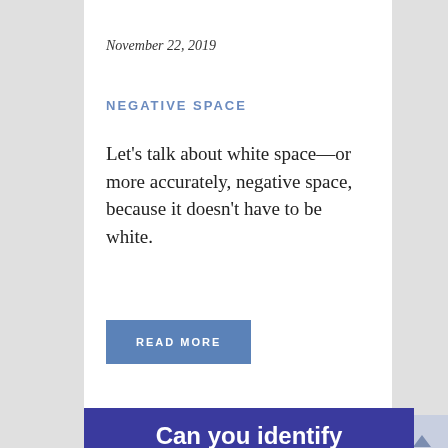November 22, 2019
NEGATIVE SPACE
Let's talk about white space—or more accurately, negative space, because it doesn't have to be white.
READ MORE
Can you identify the axes of